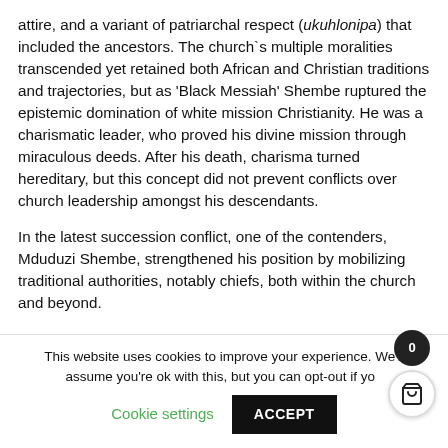attire, and a variant of patriarchal respect (ukuhlonipa) that included the ancestors. The church`s multiple moralities transcended yet retained both African and Christian traditions and trajectories, but as 'Black Messiah' Shembe ruptured the epistemic domination of white mission Christianity. He was a charismatic leader, who proved his divine mission through miraculous deeds. After his death, charisma turned hereditary, but this concept did not prevent conflicts over church leadership amongst his descendants.
In the latest succession conflict, one of the contenders, Mduduzi Shembe, strengthened his position by mobilizing traditional authorities, notably chiefs, both within the church and beyond.
This website uses cookies to improve your experience. We'll assume you're ok with this, but you can opt-out if you